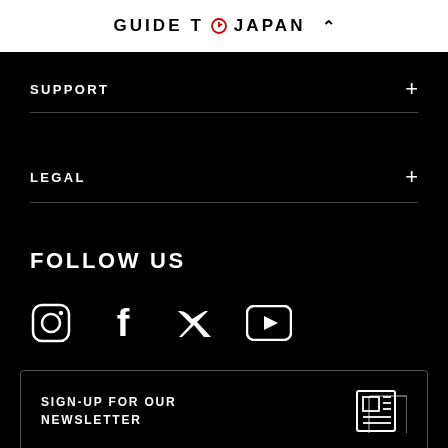GUIDE TO JAPAN ↑
SUPPORT
LEGAL
FOLLOW US
[Figure (infographic): Social media icons: Instagram, Facebook, Twitter/X, YouTube]
SIGN-UP FOR OUR NEWSLETTER